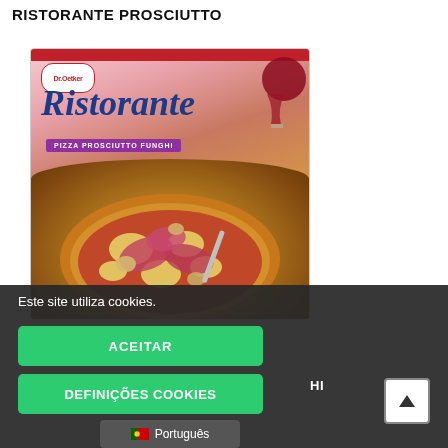RISTORANTE PROSCIUTTO
[Figure (photo): Dr. Oetker Ristorante Pizza Prosciutto Funghi product packaging box showing the pizza with ham and mushroom toppings, with a glass of red wine in the background]
Este site utiliza cookies.
ACEITAR
DEFINIÇÕES COOKIES
Português